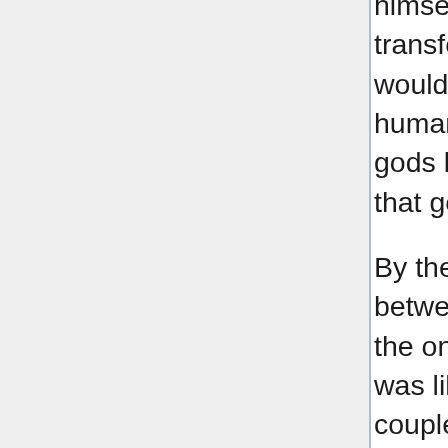himself who would often head to Midgard while transformed into a human or animal (and he would usually induce killings or wars between humans). He set a very bad example for all the gods below him and completely ruined the idea that gods must not head to the human world.
By the way, it was often said carelessly crossing between the nine worlds could cause a war, but the only type of war the goddess of marriage was like to cause would be fights between couples. It was possible somewhere in the world on that day, a dragon-slaying warrior and a rune-using witch got into a serious fistfight.
Frigg was officially heading to Midgard in the name of celebrating a marriage occurring there, but after shocking the lucky bride and groom to the bottoms of